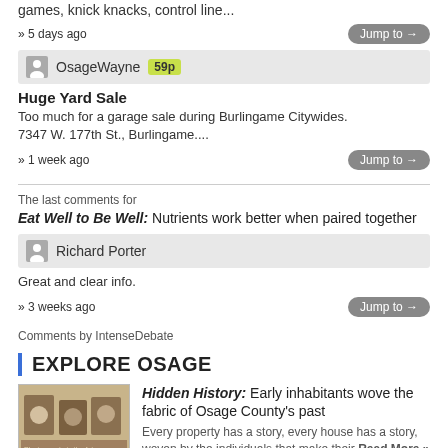games, knick knacks, control line...
» 5 days ago
OsageWayne 59p
Huge Yard Sale
Too much for a garage sale during Burlingame Citywides. 7347 W. 177th St., Burlingame....
» 1 week ago
The last comments for Eat Well to Be Well: Nutrients work better when paired together
Richard Porter
Great and clear info.
» 3 weeks ago
Comments by IntenseDebate
EXPLORE OSAGE
Hidden History: Early inhabitants wove the fabric of Osage County's past
Every property has a story, every house has a story, woven by the individuals that make their Read More »
Frontier Extension District enlists interns for summer programs